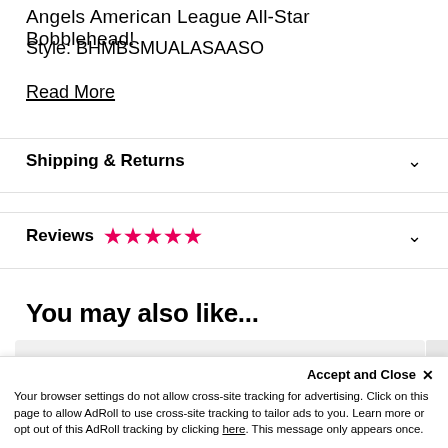Angels American League All-Star Bobblehead!
Style: BHMBSMUALASAASO
Read More
Shipping & Returns
Reviews ★★★★★
You may also like...
Accept and Close ✕
Your browser settings do not allow cross-site tracking for advertising. Click on this page to allow AdRoll to use cross-site tracking to tailor ads to you. Learn more or opt out of this AdRoll tracking by clicking here. This message only appears once.